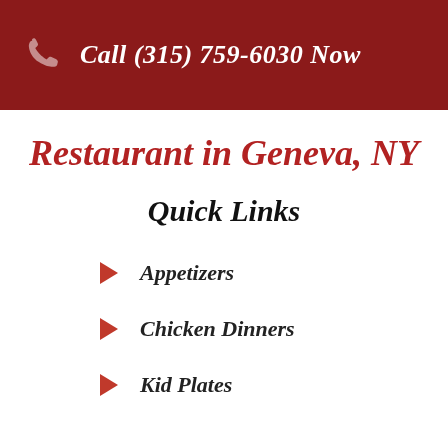Call (315) 759-6030 Now
Restaurant in Geneva, NY
Quick Links
Appetizers
Chicken Dinners
Kid Plates